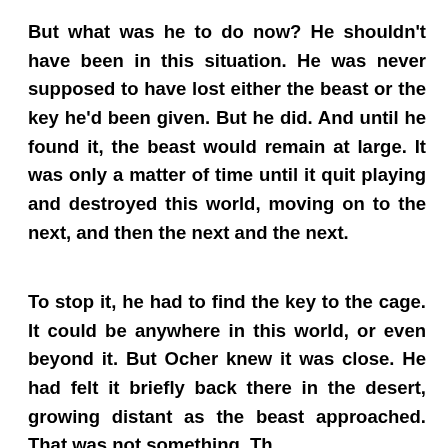But what was he to do now? He shouldn't have been in this situation. He was never supposed to have lost either the beast or the key he'd been given. But he did. And until he found it, the beast would remain at large. It was only a matter of time until it quit playing and destroyed this world, moving on to the next, and then the next and the next.
To stop it, he had to find the key to the cage. It could be anywhere in this world, or even beyond it. But Ocher knew it was close. He had felt it briefly back there in the desert, growing distant as the beast approached. That was not everything. The...